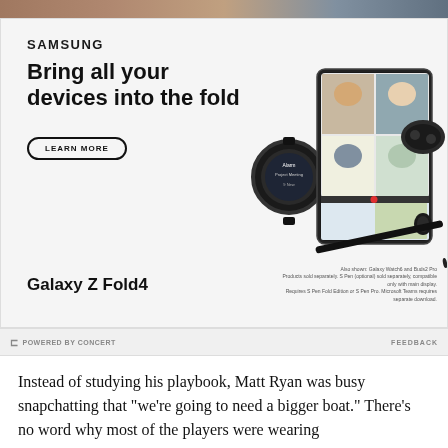[Figure (illustration): Samsung advertisement for Galaxy Z Fold4. Shows Samsung logo, headline 'Bring all your devices into the fold', a LEARN MORE button, and product images of Galaxy Z Fold4 open showing a video call with 3 people, a Galaxy Watch, Galaxy Buds2 Pro case, and an S Pen. Bottom left says 'Galaxy Z Fold4' and bottom right has disclaimer text about Galaxy Watch6 and Buds2 Pro.]
POWERED BY CONCERT   FEEDBACK
Instead of studying his playbook, Matt Ryan was busy snapchatting that "we're going to need a bigger boat." There's no word why most of the players were wearing